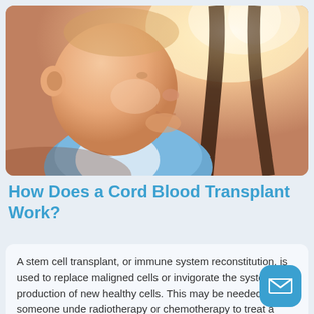[Figure (photo): Close-up photo of a young child (toddler) looking upward, wearing a light blue top, with warm sunlight in background and dark wooden sticks/poles visible]
How Does a Cord Blood Transplant Work?
A stem cell transplant, or immune system reconstitution, is used to replace maligned cells or invigorate the system's production of new healthy cells. This may be needed when someone unde radiotherapy or chemotherapy to treat a cancer their blood or immune system or when the person has